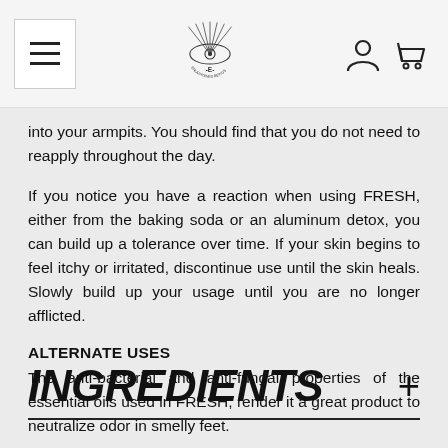Navigation header with menu button, logo, user icon, and cart icon
into your armpits. You should find that you do not need to reapply throughout the day.
If you notice you have a reaction when using FRESH, either from the baking soda or an aluminum detox, you can build up a tolerance over time. If your skin begins to feel itchy or irritated, discontinue use until the skin heals. Slowly build up your usage until you are no longer afflicted.
ALTERNATE USES
The anti-bacterial and anti-fungal properties of the essential oils used in FRESH, render it a great product to neutralize odor in smelly feet.
INGREDIENTS